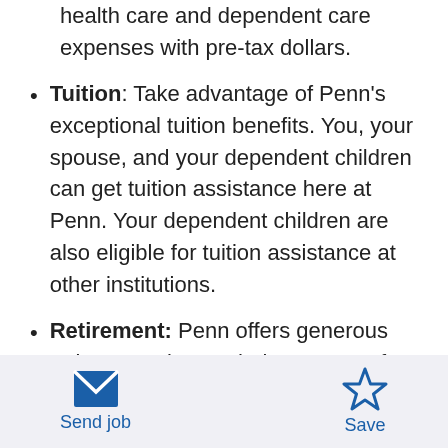health care and dependent care expenses with pre-tax dollars.
Tuition: Take advantage of Penn's exceptional tuition benefits. You, your spouse, and your dependent children can get tuition assistance here at Penn. Your dependent children are also eligible for tuition assistance at other institutions.
Retirement: Penn offers generous retirement plans to help you save for your future. Penn's Basic, Matching, and Supplemental retirement plans allow you to save for retirement on a pre-tax or Roth basis. Choose from a wide variety of
Send job  Save